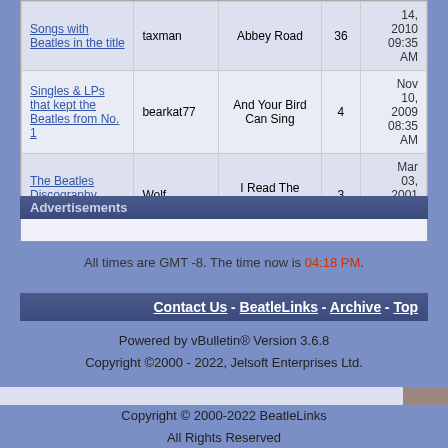| Topic | Last Post By | Last Post | Replies | Date |
| --- | --- | --- | --- | --- |
| Songs with Beatles in the title | taxman | Abbey Road | 36 | Nov 14, 2010 09:35 AM |
| Singles & LPs that kept the Beatles from No. 1 | bearkat77 | And Your Bird Can Sing | 4 | Nov 10, 2009 08:35 AM |
| The Beatles Discography 1961 - 2000 | Wolf | I Read The News Today | 3 | Mar 03, 2001 08:53 PM |
Advertisements
All times are GMT -8. The time now is 04:18 PM.
Contact Us - BeatleLinks - Archive - Top
Powered by vBulletin® Version 3.6.8
Copyright ©2000 - 2022, Jelsoft Enterprises Ltd.
Copyright © 2000-2022 BeatleLinks
All Rights Reserved